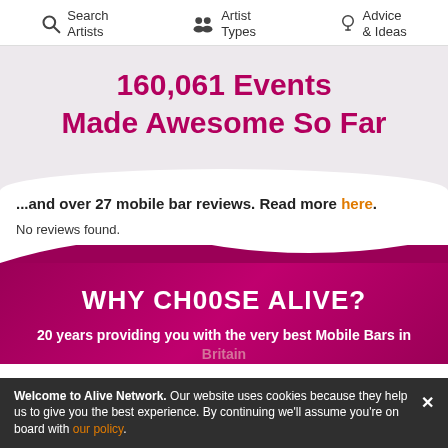Search Artists | Artist Types | Advice & Ideas
160,061 Events Made Awesome So Far
...and over 27 mobile bar reviews. Read more here.
No reviews found.
WHY CHOOSE ALIVE?
20 years providing you with the very best Mobile Bars in
Welcome to Alive Network. Our website uses cookies because they help us to give you the best experience. By continuing we'll assume you're on board with our policy.